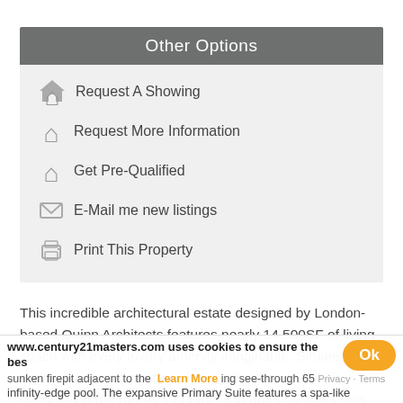Other Options
Request A Showing
Request More Information
Get Pre-Qualified
E-Mail me new listings
Print This Property
This incredible architectural estate designed by London-based Quinn Architects features nearly 14,500SF of living space with every luxury amenity imaginable. Situated on a nearly 1-acre promontory site in prime Lower Bel Air overlooking the Bel-Air Country Club and City lights, this trophy property features imported fixtures and finishes, motorized Fleetwood glas sunken firepit adjacent to the infinity-edge pool. The expansive Primary Suite features a spa-like
www.century21masters.com uses cookies to ensure the bes
Learn More